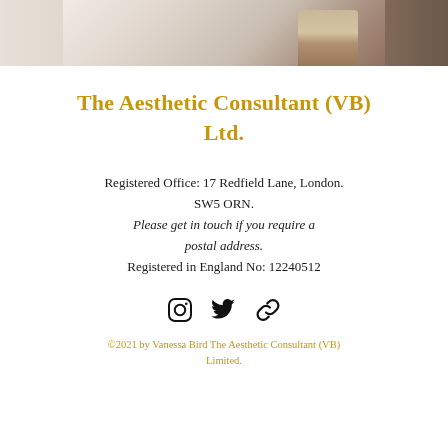[Figure (photo): Partial photograph showing a bright interior space with a person seated, cropped at top of page]
The Aesthetic Consultant (VB) Ltd.
Registered Office: 17 Redfield Lane, London. SW5 ORN.
Please get in touch if you require a postal address.
Registered in England No: 12240512
[Figure (illustration): Social media icons: Instagram, Twitter, and link icon]
©2021 by Vanessa Bird The Aesthetic Consultant (VB) Limited.